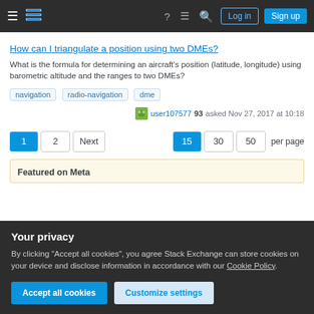Stack Exchange navigation bar with hamburger menu, logo, icons, Log in and Sign up buttons
How can I triangulate a position using two DMEs?
What is the formula for determining an aircraft's position (latitude, longitude) using barometric altitude and the ranges to two DMEs?
navigation
radio-navigation
dme
user107577 93 asked Nov 27, 2017 at 10:18
Pagination: 1, 2, Next | 15, 30, 50 per page
Featured on Meta
Your privacy
By clicking "Accept all cookies", you agree Stack Exchange can store cookies on your device and disclose information in accordance with our Cookie Policy.
Accept all cookies | Customize settings